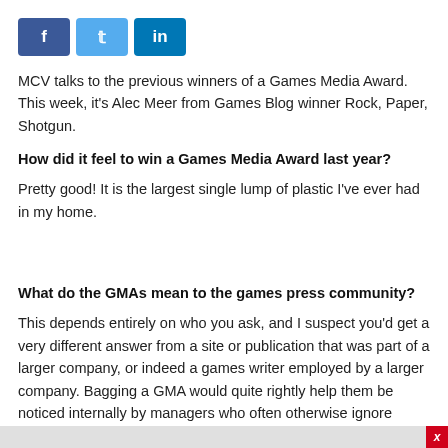[Figure (other): Social media share buttons: Facebook (blue), Twitter (light blue), LinkedIn (dark blue)]
MCV talks to the previous winners of a Games Media Award. This week, it's Alec Meer from Games Blog winner Rock, Paper, Shotgun.
How did it feel to win a Games Media Award last year?
Pretty good! It is the largest single lump of plastic I've ever had in my home.
What do the GMAs mean to the games press community?
This depends entirely on who you ask, and I suspect you'd get a very different answer from a site or publication that was part of a larger company, or indeed a games writer employed by a larger company. Bagging a GMA would quite rightly help them be noticed internally by managers who often otherwise ignore them.